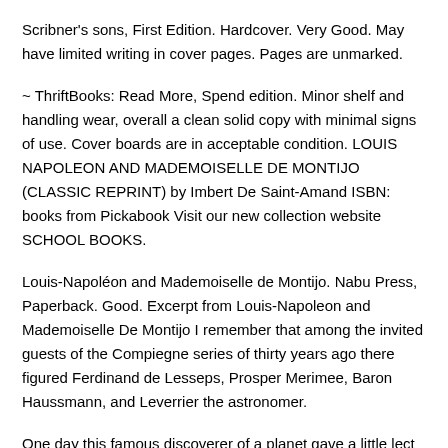Scribner's sons, First Edition. Hardcover. Very Good. May have limited writing in cover pages. Pages are unmarked.
~ ThriftBooks: Read More, Spend edition. Minor shelf and handling wear, overall a clean solid copy with minimal signs of use. Cover boards are in acceptable condition. LOUIS NAPOLEON AND MADEMOISELLE DE MONTIJO (CLASSIC REPRINT) by Imbert De Saint-Amand ISBN: books from Pickabook Visit our new collection website SCHOOL BOOKS.
Louis-Napoléon and Mademoiselle de Montijo. Nabu Press, Paperback. Good. Excerpt from Louis-Napoleon and Mademoiselle De Montijo I remember that among the invited guests of the Compiegne series of thirty years ago there figured Ferdinand de Lesseps, Prosper Merimee, Baron Haussmann, and Leverrier the astronomer.
One day this famous discoverer of a planet gave a little lect ure on astronomy to the visitors at the. - Buy Louis-Napoleon and Mademoiselle de Montijo: book online at best prices in india on Read